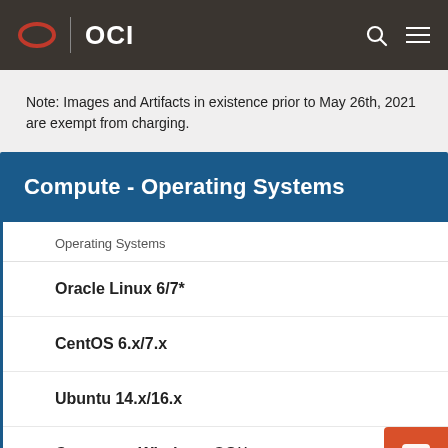OCI
Note: Images and Artifacts in existence prior to May 26th, 2021 are exempt from charging.
Compute - Operating Systems
| Operating Systems |
| --- |
| Oracle Linux 6/7* |
| CentOS 6.x/7.x |
| Ubuntu 14.x/16.x |
| Compute - Windows OS** |